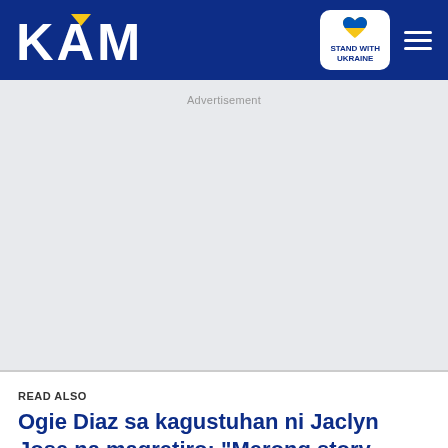KAMI
Advertisement
READ ALSO
Ogie Diaz sa kagustuhan ni Jaclyn Jose na magretiro: "Merong story behind that"